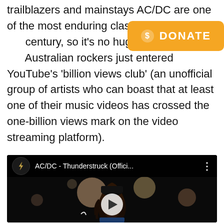trailblazers and mainstays AC/DC are one of the most enduring classic rock bands of the century, so it's no huge surprise that the Australian rockers just entered YouTube's 'billion views club' (an unofficial group of artists who can boast that at least one of their music videos has crossed the one-billion views mark on the video streaming platform).
[Figure (other): Orange DONATE button with dollar sign icon]
[Figure (screenshot): YouTube video embed showing AC/DC - Thunderstruck (Offici... with channel icon, video title, more options icon, dark concert background with bokeh lights and a guitarist, and a play button overlay]